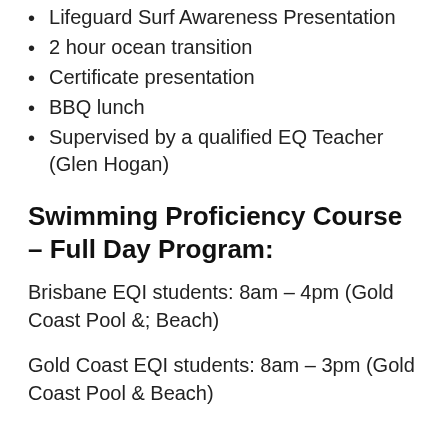Lifeguard Surf Awareness Presentation
2 hour ocean transition
Certificate presentation
BBQ lunch
Supervised by a qualified EQ Teacher (Glen Hogan)
Swimming Proficiency Course – Full Day Program:
Brisbane EQI students: 8am – 4pm (Gold Coast Pool &; Beach)
Gold Coast EQI students: 8am – 3pm (Gold Coast Pool & Beach)